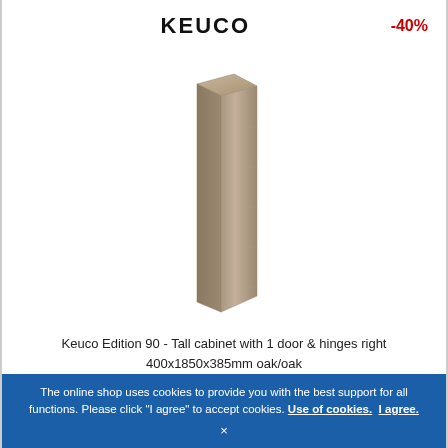KEUCO
-40%
[Figure (photo): Tall narrow bathroom cabinet in oak finish, standing upright, approximately 400x1850x385mm]
Keuco Edition 90 - Tall cabinet with 1 door & hinges right 400x1850x385mm oak/oak
€ 3,507.96*
€ 2,086.75
The online shop uses cookies to provide you with the best support for all functions. Please click "I agree" to accept cookies. Use of cookies. I agree.